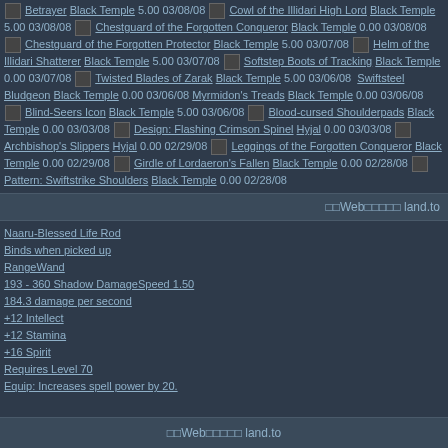Betrayer Black Temple 5.00 03/08/08 [icon] Cowl of the Illidari High Lord Black Temple 5.00 03/08/08 [icon] Chestguard of the Forgotten Conqueror Black Temple 0.00 03/08/08 [icon] Chestguard of the Forgotten Protector Black Temple 5.00 03/07/08 [icon] Helm of the Illidari Shatterer Black Temple 5.00 03/07/08 [icon] Softstep Boots of Tracking Black Temple 0.00 03/07/08 [icon] Twisted Blades of Zarak Black Temple 5.00 03/06/08 Swiftsteel Bludgeon Black Temple 0.00 03/06/08 Myrmidon's Treads Black Temple 0.00 03/06/08 [icon] Blind-Seers Icon Black Temple 5.00 03/06/08 [icon] Blood-cursed Shoulderpads Black Temple 0.00 03/03/08 [icon] Design: Flashing Crimson Spinel Hyjal 0.00 03/03/08 [icon] Archbishop's Slippers Hyjal 0.00 02/29/08 [icon] Leggings of the Forgotten Conqueror Black Temple 0.00 02/29/08 [icon] Girdle of Lordaeron's Fallen Black Temple 0.00 02/28/08 [icon] Pattern: Swiftstrike Shoulders Black Temple 0.00 02/28/08
□□Web□□□□□ land.to
Naaru-Blessed Life Rod
Binds when picked up
RangeWand
193 - 360 Shadow DamageSpeed 1.50
184.3 damage per second
+12 Intellect
+12 Stamina
+16 Spirit
Requires Level 70
Equip: Increases spell power by 20.
itemstats.free.fr
',VAUTO,HAUTO,FULLHTML);" onmouseout="return nd();"> Naaru-Blessed Life Rod Black Temple 5.00 02/28/08 Boneweave Girdle Black Temple 0.00 ... found 456 unique items / 100 per page
1 2 3 4 5 >
Powered by EQdkp 1.3.2
© 2003 The EQdkp Project Team
□□Web□□□□□ land.to